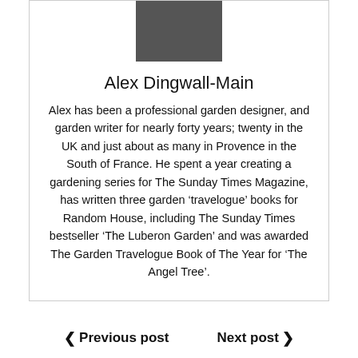[Figure (photo): Black and white headshot photo of Alex Dingwall-Main]
Alex Dingwall-Main
Alex has been a professional garden designer, and garden writer for nearly forty years; twenty in the UK and just about as many in Provence in the South of France. He spent a year creating a gardening series for The Sunday Times Magazine, has written three garden ‘travelogue’ books for Random House, including The Sunday Times bestseller ‘The Luberon Garden’ and was awarded The Garden Travelogue Book of The Year for ‘The Angel Tree’.
‹ Previous post   Next post ›